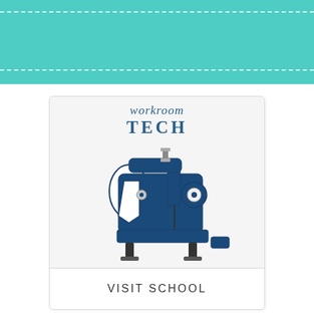[Figure (logo): Teal banner header with white dashed stitch lines at top and bottom edges]
[Figure (logo): Workroom Tech logo with sewing machine illustration and 'workroom TECH' text, with a 'VISIT SCHOOL' button below]